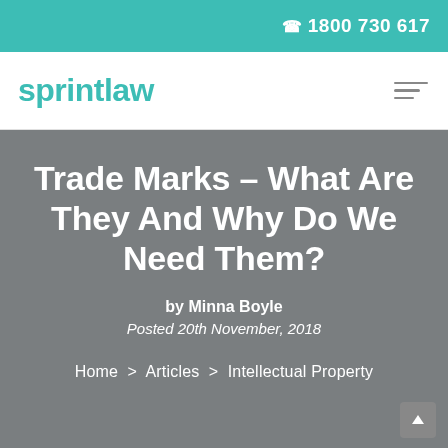☎ 1800 730 617
[Figure (logo): Sprintlaw logo in teal with hamburger menu icon]
Trade Marks – What Are They And Why Do We Need Them?
by Minna Boyle
Posted 20th November, 2018
Home > Articles > Intellectual Property